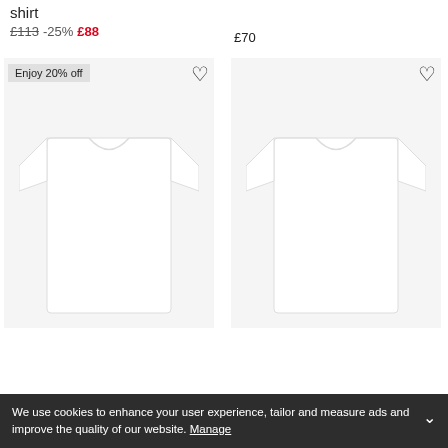shirt
£113 -25% £88
£70
[Figure (photo): White t-shirt product photo, left item, with 'Enjoy 20% off' badge and heart/wishlist icon]
[Figure (photo): White t-shirt product photo, right item, with heart/wishlist icon]
We use cookies to enhance your user experience, tailor and measure ads and improve the quality of our website. Manage